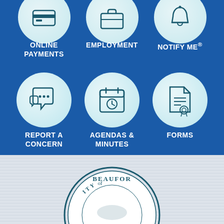[Figure (infographic): Blue background section with two rows of three circular icons each. Row 1 (partial, top): Online Payments, Employment, Notify Me®. Row 2: Report a Concern (speech bubble icon), Agendas & Minutes (calendar/clock icon), Forms (certificate/document icon). Labels in white bold uppercase text beneath each icon.]
[Figure (logo): City of Beaufort seal/logo partially visible at bottom of page on gray striped background]